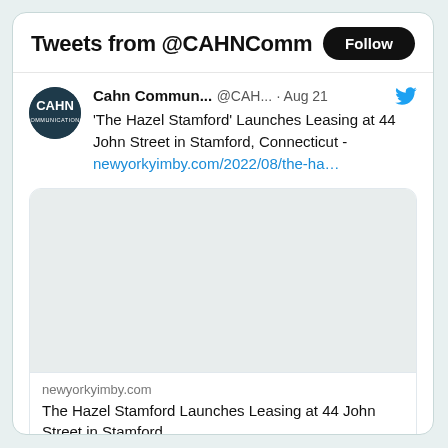Tweets from @CAHNComm
Cahn Commun... @CAH... · Aug 21
'The Hazel Stamford' Launches Leasing at 44 John Street in Stamford, Connecticut - newyorkyimby.com/2022/08/the-ha...
[Figure (screenshot): Preview card of newyorkyimby.com article with blank image area]
newyorkyimby.com
The Hazel Stamford Launches Leasing at 44 John Street in Stamford, …